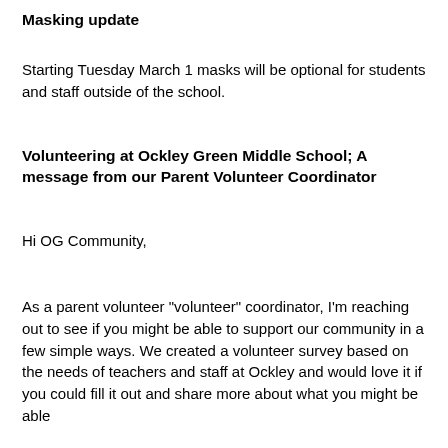Masking update
Starting Tuesday March 1 masks will be optional for students and staff outside of the school.
Volunteering at Ockley Green Middle School; A message from our Parent Volunteer Coordinator
Hi OG Community,
As a parent volunteer "volunteer" coordinator, I'm reaching out to see if you might be able to support our community in a few simple ways. We created a volunteer survey based on the needs of teachers and staff at Ockley and would love it if you could fill it out and share more about what you might be able